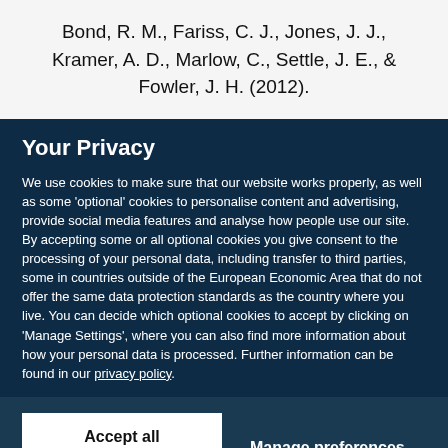Bond, R. M., Fariss, C. J., Jones, J. J., Kramer, A. D., Marlow, C., Settle, J. E., & Fowler, J. H. (2012).
Your Privacy
We use cookies to make sure that our website works properly, as well as some 'optional' cookies to personalise content and advertising, provide social media features and analyse how people use our site. By accepting some or all optional cookies you give consent to the processing of your personal data, including transfer to third parties, some in countries outside of the European Economic Area that do not offer the same data protection standards as the country where you live. You can decide which optional cookies to accept by clicking on 'Manage Settings', where you can also find more information about how your personal data is processed. Further information can be found in our privacy policy.
Accept all cookies
Manage preferences